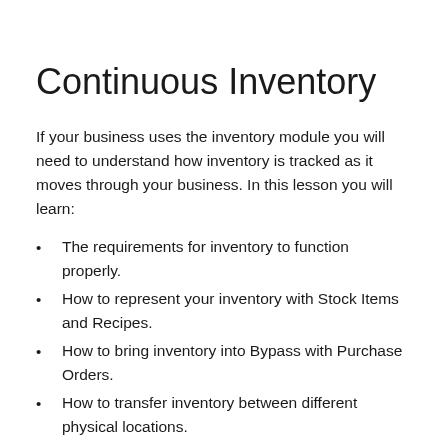Continuous Inventory
If your business uses the inventory module you will need to understand how inventory is tracked as it moves through your business. In this lesson you will learn:
The requirements for inventory to function properly.
How to represent your inventory with Stock Items and Recipes.
How to bring inventory into Bypass with Purchase Orders.
How to transfer inventory between different physical locations.
How to check on the health of inventory as your